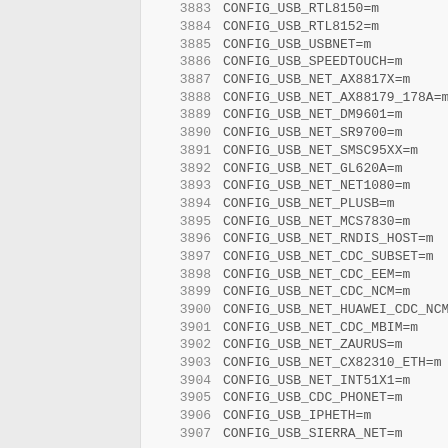| line | code |
| --- | --- |
| 3883 | CONFIG_USB_RTL8150=m |
| 3884 | CONFIG_USB_RTL8152=m |
| 3885 | CONFIG_USB_USBNET=m |
| 3886 | CONFIG_USB_SPEEDTOUCH=m |
| 3887 | CONFIG_USB_NET_AX8817X=m |
| 3888 | CONFIG_USB_NET_AX88179_178A=m |
| 3889 | CONFIG_USB_NET_DM9601=m |
| 3890 | CONFIG_USB_NET_SR9700=m |
| 3891 | CONFIG_USB_NET_SMSC95XX=m |
| 3892 | CONFIG_USB_NET_GL620A=m |
| 3893 | CONFIG_USB_NET_NET1080=m |
| 3894 | CONFIG_USB_NET_PLUSB=m |
| 3895 | CONFIG_USB_NET_MCS7830=m |
| 3896 | CONFIG_USB_NET_RNDIS_HOST=m |
| 3897 | CONFIG_USB_NET_CDC_SUBSET=m |
| 3898 | CONFIG_USB_NET_CDC_EEM=m |
| 3899 | CONFIG_USB_NET_CDC_NCM=m |
| 3900 | CONFIG_USB_NET_HUAWEI_CDC_NCM=m |
| 3901 | CONFIG_USB_NET_CDC_MBIM=m |
| 3902 | CONFIG_USB_NET_ZAURUS=m |
| 3903 | CONFIG_USB_NET_CX82310_ETH=m |
| 3904 | CONFIG_USB_NET_INT51X1=m |
| 3905 | CONFIG_USB_CDC_PHONET=m |
| 3906 | CONFIG_USB_IPHETH=m |
| 3907 | CONFIG_USB_SIERRA_NET=m |